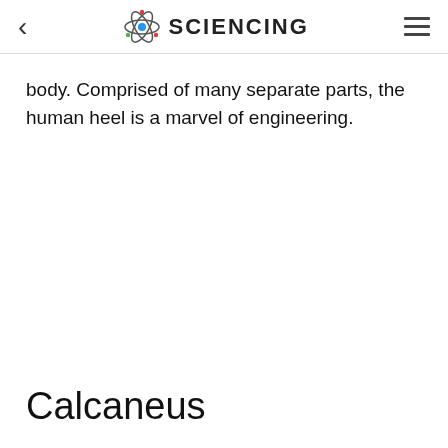< SCIENCING ≡
body. Comprised of many separate parts, the human heel is a marvel of engineering.
Calcaneus